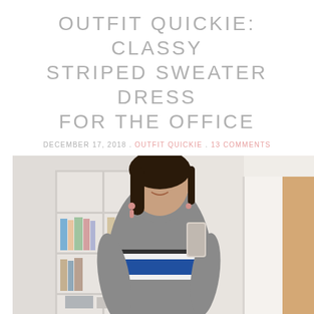OUTFIT QUICKIE: CLASSY STRIPED SWEATER DRESS FOR THE OFFICE
DECEMBER 17, 2018 . OUTFIT QUICKIE . 13 COMMENTS
[Figure (photo): A woman taking a mirror selfie wearing a gray turtleneck striped sweater dress with blue, white, and black stripes, holding a phone, smiling. Background shows a white shelving unit with books and decor, and a doorway.]